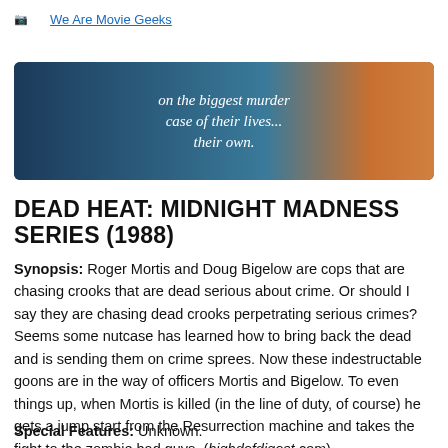We Are Movie Geeks
[Figure (photo): Movie poster image for Dead Heat showing text 'on the biggest murder case of their lives... their own.' on a dark blue background with a hand and orange tones on the right side.]
DEAD HEAT: MIDNIGHT MADNESS SERIES (1988)
Synopsis: Roger Mortis and Doug Bigelow are cops that are chasing crooks that are dead serious about crime. Or should I say they are chasing dead crooks perpetrating serious crimes? Seems some nutcase has learned how to bring back the dead and is sending them on crime sprees. Now these indestructable goons are in the way of officers Mortis and Bigelow. To even things up, when Mortis is killed (in the line of duty, of course) he gets a jump start from the Resurrection machine and takes the fight to the zombie bad guys. (highdefdigest.com)
Special Features: Unknown.